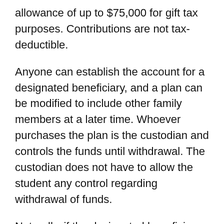allowance of up to $75,000 for gift tax purposes. Contributions are not tax-deductible.
Anyone can establish the account for a designated beneficiary, and a plan can be modified to include other family members at a later time. Whoever purchases the plan is the custodian and controls the funds until withdrawal. The custodian does not have to allow the student any control regarding withdrawal of funds.
Naturally, if the designated beneficiary does not attend school, and funds are withdrawn for any purpose other than the qualified expenses previously referred to, income tax will be due on withdrawn interest/dividends earned, as well as a 10 percent tax